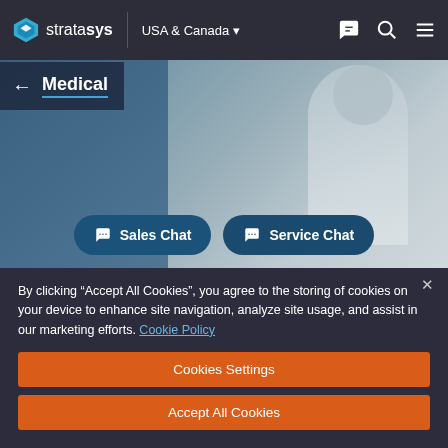[Figure (screenshot): Stratasys website navigation bar with logo, USA & Canada region selector, chat icon, search icon, and menu icon on dark background]
[Figure (photo): Hero image showing a medical professional (doctor with glasses and stethoscope) in a clinical setting with blue gradient overlay]
← Medical
[Figure (screenshot): Two rounded dark blue chat buttons: 'Sales Chat' and 'Service Chat' with speech bubble icons]
By clicking “Accept All Cookies”, you agree to the storing of cookies on your device to enhance site navigation, analyze site usage, and assist in our marketing efforts. Cookie Policy
[Figure (screenshot): Cookie consent panel with orange 'Cookies Settings' and 'Accept All Cookies' buttons on dark background]